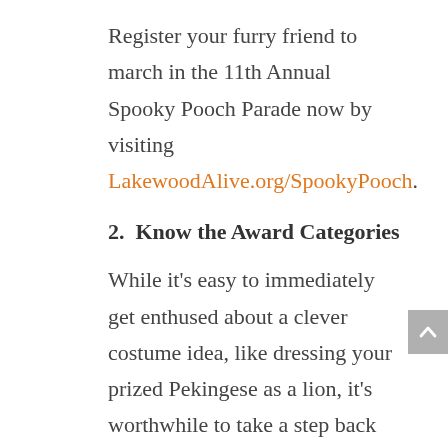Register your furry friend to march in the 11th Annual Spooky Pooch Parade now by visiting LakewoodAlive.org/SpookyPooch.
2. Know the Award Categories
While it's easy to immediately get enthused about a clever costume idea, like dressing your prized Pekingese as a lion, it's worthwhile to take a step back and first examine the award criteria. This will enable you to target specific categories with your canine costume